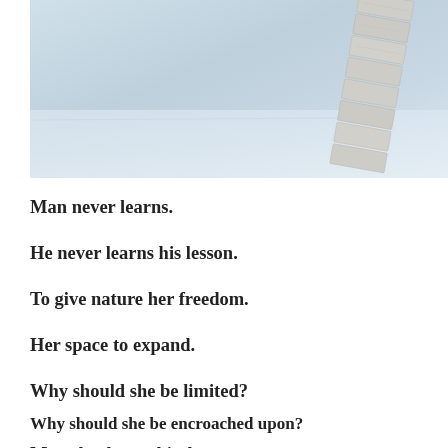[Figure (photo): A light blue-grey winter or snowy landscape photo with what appears to be a brick or stone architectural element in the upper right corner.]
Man never learns.
He never learns his lesson.
To give nature her freedom.
Her space to expand.
Why should she be limited?
Why should she be encroached upon?
Move back mankind.